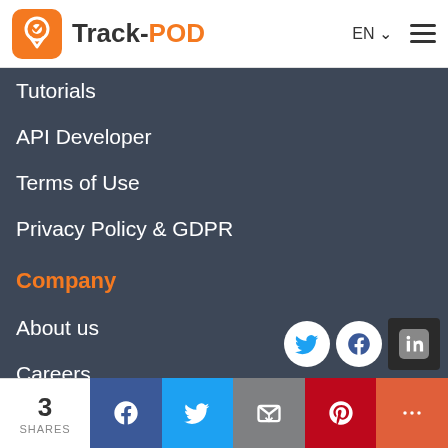Track-POD
Tutorials
API Developer
Terms of Use
Privacy Policy & GDPR
Company
About us
Careers
Contact us
[Figure (infographic): Social media share icons: Twitter, Facebook, LinkedIn]
3 SHARES | Facebook | Twitter | Email | Pinterest | More